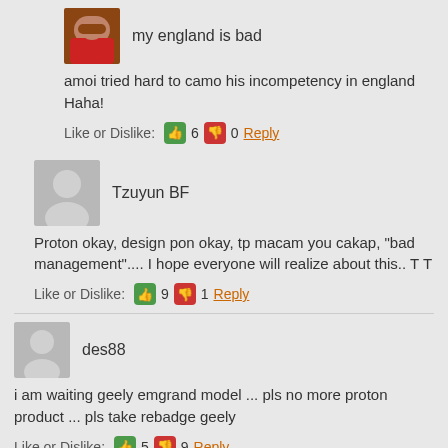[Figure (photo): User avatar photo of a person in a red jacket]
my england is bad
amoi tried hard to camo his incompetency in england Haha!
Like or Dislike: 👍 6 👎 0 Reply
[Figure (illustration): Default grey silhouette avatar for user Tzuyun BF]
Tzuyun BF
Proton okay, design pon okay, tp macam you cakap, "bad management".... I hope everyone will realize about this.. T T
Like or Dislike: 👍 9 👎 1 Reply
[Figure (illustration): Default grey silhouette avatar for user des88]
des88
i am waiting geely emgrand model ... pls no more proton product ... pls take rebadge geely
Like or Dislike: 👍 5 👎 9 Reply